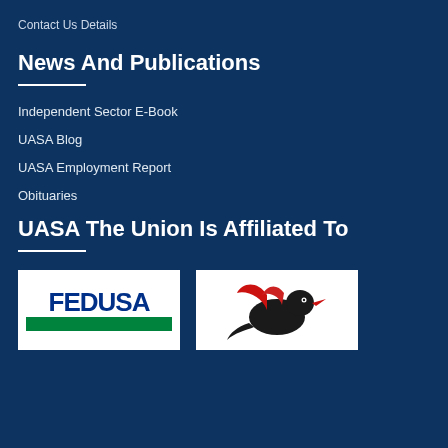Contact Us Details
News And Publications
Independent Sector E-Book
UASA Blog
UASA Employment Report
Obituaries
UASA The Union Is Affiliated To
[Figure (logo): FEDUSA logo — blue text on white background with green bar]
[Figure (logo): Red and black bird logo on white background]